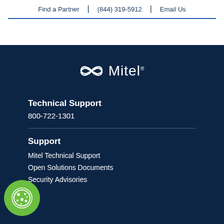Find a Partner | (844) 319-5912 | Email Us
[Figure (logo): Mitel logo — infinity-style bowtie symbol followed by 'Mitel' wordmark in white on dark navy background]
Technical Support
800-722-1301
Support
Mitel Technical Support
Open Solutions Documents
Security Advisories